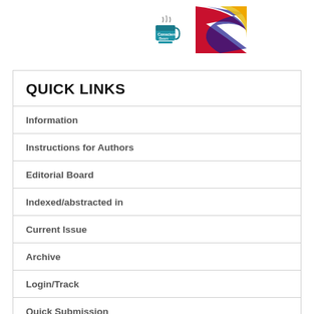[Figure (logo): Conscientia Beam logo with coffee cup icon and colorful abstract swoosh graphic]
QUICK LINKS
Information
Instructions for Authors
Editorial Board
Indexed/abstracted in
Current Issue
Archive
Login/Track
Quick Submission
Editor/Reviewer Login